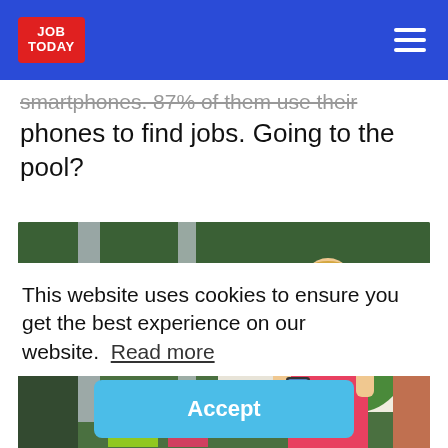JOB TODAY
smartphones. 87% of them use their phones to find jobs. Going to the pool?
[Figure (photo): Woman in red/pink outfit looking at smartphone near a pool area with colorful flowers in the background]
This website uses cookies to ensure you get the best experience on our website. Read more
Accept